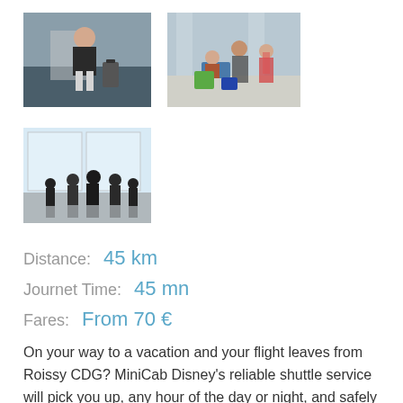[Figure (photo): Woman sitting in airport lounge with luggage]
[Figure (photo): Family with luggage cart walking through airport]
[Figure (photo): Silhouettes of travellers against large airport windows]
Distance:  45 km
Journet Time:  45 mn
Fares:  From 70 €
On your way to a vacation and your flight leaves from Roissy CDG? MiniCab Disney's reliable shuttle service will pick you up, any hour of the day or night, and safely